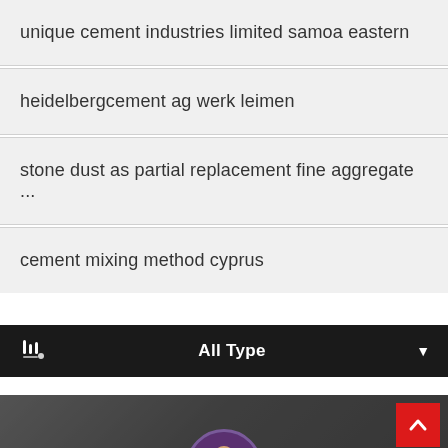unique cement industries limited samoa eastern
heidelbergcement ag werk leimen
stone dust as partial replacement fine aggregate ...
cement mixing method cyprus
All Type
Leave Message
Chat Online